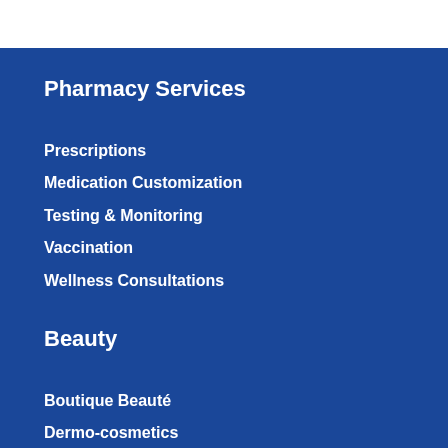Pharmacy Services
Prescriptions
Medication Customization
Testing & Monitoring
Vaccination
Wellness Consultations
Beauty
Boutique Beauté
Dermo-cosmetics
Cosmetics